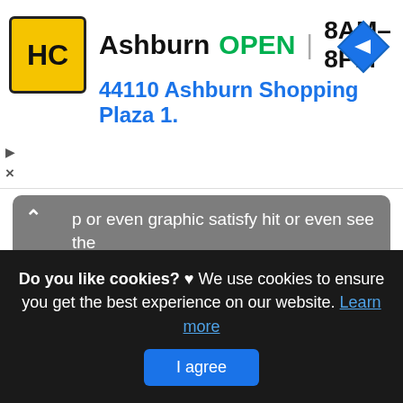[Figure (infographic): Ad banner with HC logo, Ashburn store info: OPEN 8AM-8PM, 44110 Ashburn Shopping Plaza 1., and a blue navigation diamond icon]
p or even graphic satisfy hit or even see the complying with web link or even web link .
(Read More)
Source: gamingonphone.com Visit Web
Do you like cookies? ♥ We use cookies to ensure you get the best experience on our website. Learn more
I agree